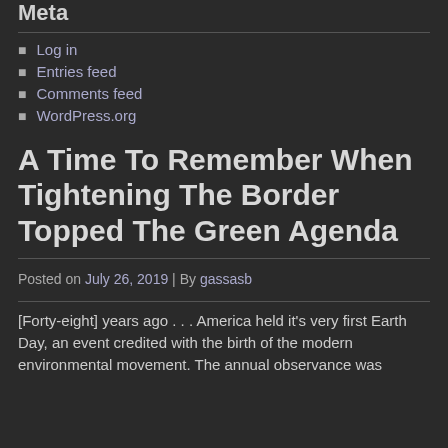Meta
Log in
Entries feed
Comments feed
WordPress.org
A Time To Remember When Tightening The Border Topped The Green Agenda
Posted on July 26, 2019 | By gassasb
[Forty-eight] years ago . . . America held it's very first Earth Day, an event credited with the birth of the modern environmental movement. The annual observance was